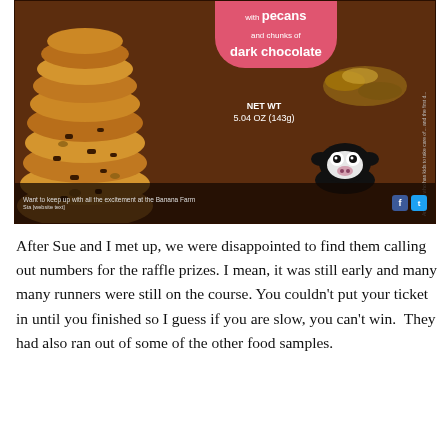[Figure (photo): Photo of a cookie product box with dark brown packaging. The front shows a stack of chocolate chip cookies with pecans. Pink banner at top reads 'with pecans and chunks of dark chocolate'. Net weight listed as 5.04 OZ (143g). A cartoon cow mascot is visible in the lower right area. Bottom of box shows social media icons (Facebook, Twitter) and text 'Want to keep up with all the excitement at the Banana Farm'.]
After Sue and I met up, we were disappointed to find them calling out numbers for the raffle prizes. I mean, it was still early and many many runners were still on the course. You couldn't put your ticket in until you finished so I guess if you are slow, you can't win.  They had also ran out of some of the other food samples.